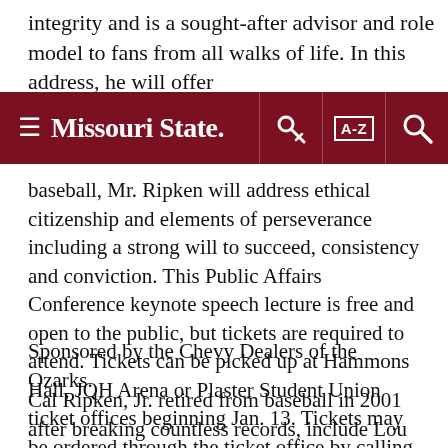integrity and is a sought-after advisor and role model to fans from all walks of life. In this address, he will offer
≡ Missouri State.  [key icon] [A-Z] [search icon]
baseball, Mr. Ripken will address ethical citizenship and elements of perseverance including a strong will to succeed, consistency and conviction. This Public Affairs Conference keynote speech lecture is free and open to the public, but tickets are required to attend. Tickets can be picked up at Hammons Hall, JQH Arena or Plaster Student Union ticket offices beginning Jan. 13. Tickets may be ordered through the ticket office by calling (417) 836-7678 or (toll-free) 1-888-476-7849; but a shipping and handling fee will apply.
Sponsored by the Chevy Dealers of the Ozarks.
Cal Ripken, Jr. retired from baseball in 2001 after breaking countless records, include Lou Gehrig's record